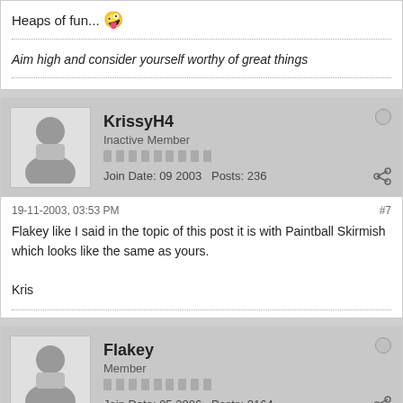Heaps of fun... 😜
Aim high and consider yourself worthy of great things
KrissyH4 – Inactive Member – Join Date: 09 2003  Posts: 236
19-11-2003, 03:53 PM  #7
Flakey like I said in the topic of this post it is with Paintball Skirmish which looks like the same as yours.

Kris
Flakey – Member – Join Date: 05 2006  Posts: 3164